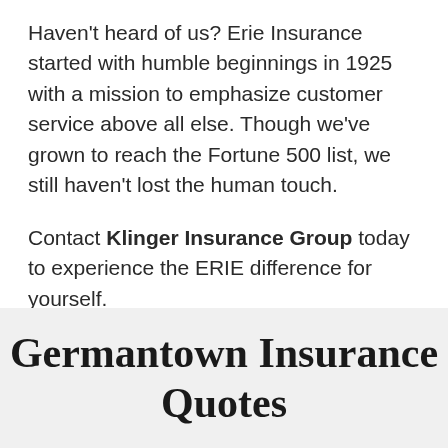Haven't heard of us? Erie Insurance started with humble beginnings in 1925 with a mission to emphasize customer service above all else. Though we've grown to reach the Fortune 500 list, we still haven't lost the human touch.
Contact Klinger Insurance Group today to experience the ERIE difference for yourself.
Germantown Insurance Quotes